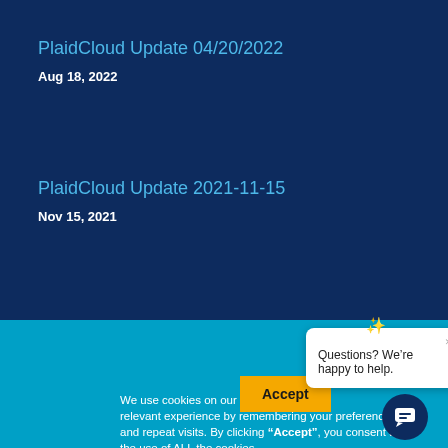PlaidCloud Update 04/20/2022
Aug 18, 2022
PlaidCloud Update 2021-11-15
Nov 15, 2021
Accept
Settings
We use cookies on our relevant experience by remembering your preferences and repeat visits. By clicking “Accept”, you consent to the use of ALL the cookies.
Do not sell my personal information.
Questions? We’re happy to help.